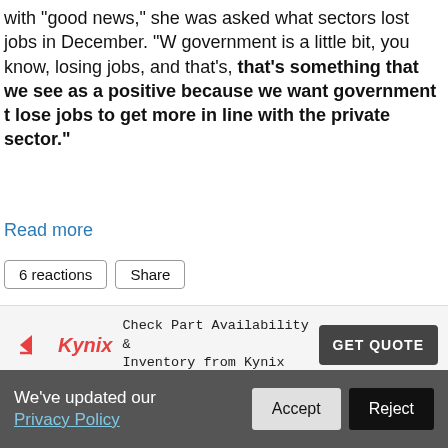with "good news," she was asked what sectors lost jobs in December. "W government is a little bit, you know, losing jobs, and that's, that's something that we see as a positive because we want government to lose jobs to get more in line with the private sector."
Read more
6 reactions   Share
[Figure (screenshot): Kynix advertisement: Check Part Availability & Inventory from Kynix. GET QUOTE button.]
Special Report's One-Sided Attack On Obama Recess Appointment
POSTED BY BRIAN · JANUARY 11, 2012 2:26 PM · 4 REACTIONS
On Friday's Special Report (1/6/12), the "All-Star" panel's Lightning Roun
We've updated our Privacy Policy   Accept   Reject